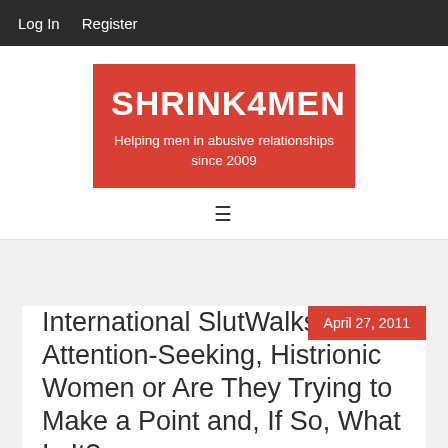Log In   Register
SHRINK4MEN
Helping men in abusive relationships since 2009
[Figure (other): Hamburger menu icon (three horizontal lines)]
April 27, 2011
International SlutWalks: More Attention-Seeking, Histrionic Women or Are They Trying to Make a Point and, If So, What Is It?